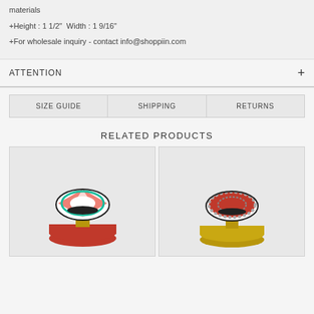materials
+Height : 1 1/2"  Width : 1 9/16"
+For wholesale inquiry - contact info@shoppiin.com
ATTENTION
SIZE GUIDE | SHIPPING | RETURNS
RELATED PRODUCTS
[Figure (photo): Decorative knob with red and white sunburst pattern and red metal base with brass stem]
[Figure (photo): Decorative knob with red and silver pattern and gold/brass base and stem]